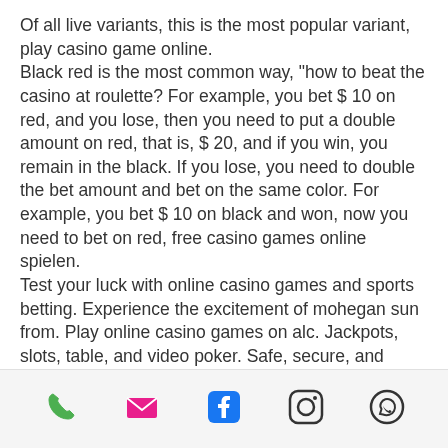Of all live variants, this is the most popular variant, play casino game online. Black red is the most common way, "how to beat the casino at roulette? For example, you bet $ 10 on red, and you lose, then you need to put a double amount on red, that is, $ 20, and if you win, you remain in the black. If you lose, you need to double the bet amount and bet on the same color. For example, you bet $ 10 on black and won, now you need to bet on red, free casino games online spielen. Test your luck with online casino games and sports betting. Experience the excitement of mohegan sun from. Play online casino games on alc. Jackpots, slots, table, and video poker. Safe, secure, and regulated. All profits stay in atlantic canada. Whether you're a newbie to online slots games or you
[phone] [email] [facebook] [instagram] [whatsapp]